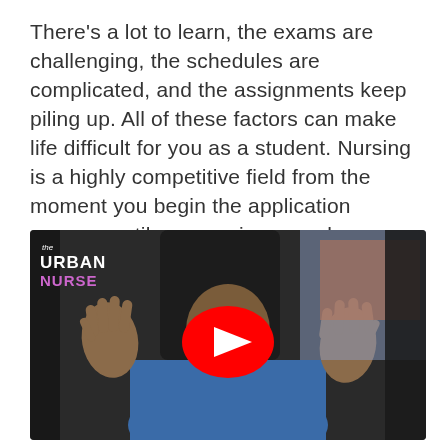There's a lot to learn, the exams are challenging, the schedules are complicated, and the assignments keep piling up. All of these factors can make life difficult for you as a student. Nursing is a highly competitive field from the moment you begin the application process until you receive your degree.
[Figure (screenshot): Embedded YouTube video thumbnail showing a man in blue scrubs sitting in a car with both hands raised and a smile, with 'The Urban Nurse' watermark in the top-left and a YouTube play button overlay in the center.]